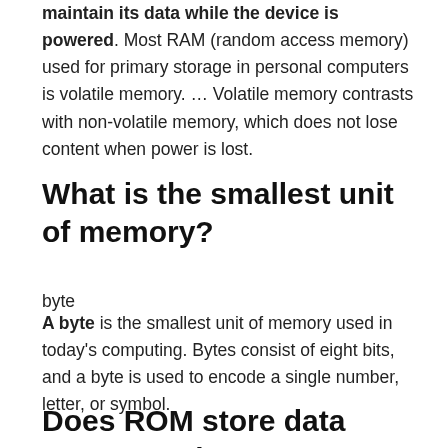maintain its data while the device is powered. Most RAM (random access memory) used for primary storage in personal computers is volatile memory. … Volatile memory contrasts with non-volatile memory, which does not lose content when power is lost.
What is the smallest unit of memory?
byte
A byte is the smallest unit of memory used in today's computing. Bytes consist of eight bits, and a byte is used to encode a single number, letter, or symbol.
Does ROM store data permanently?